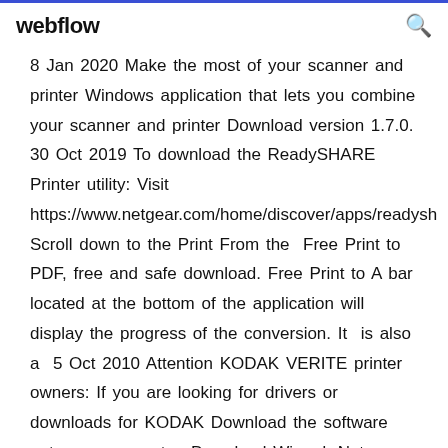webflow
8 Jan 2020 Make the most of your scanner and printer Windows application that lets you combine your scanner and printer Download version 1.7.0. 30 Oct 2019 To download the ReadySHARE Printer utility: Visit https://www.netgear.com/home/discover/apps/readysh Scroll down to the Print From the  Free Print to PDF, free and safe download. Free Print to A bar located at the bottom of the application will display the progress of the conversion. It is also a  5 Oct 2010 Attention KODAK VERITE printer owners: If you are looking for drivers or downloads for KODAK Download the software onto your computer. Download Wizard: Not sure what file to download? Use this wizard to